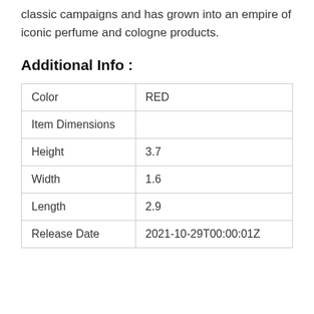classic campaigns and has grown into an empire of iconic perfume and cologne products.
Additional Info :
| Color | RED |
| Item Dimensions |  |
| Height | 3.7 |
| Width | 1.6 |
| Length | 2.9 |
| Release Date | 2021-10-29T00:00:01Z |